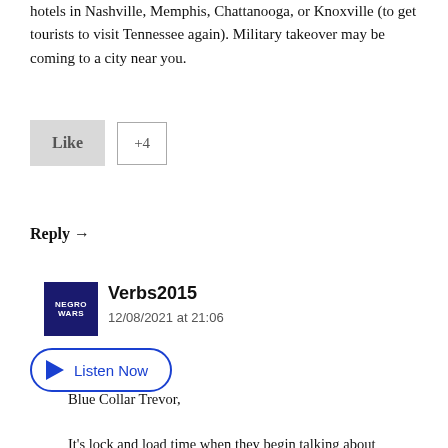hotels in Nashville, Memphis, Chattanooga, or Knoxville (to get tourists to visit Tennessee again). Military takeover may be coming to a city near you.
[Figure (other): Like button (grey) and +4 count button]
Reply →
[Figure (other): Avatar image with text NEGRO WARS on dark blue background]
Verbs2015
12/08/2021 at 21:06
[Figure (other): Listen Now button with play triangle icon, oval blue border]
Blue Collar Trevor,

It's lock and load time when they begin talking about kidnapping individuals and throwing them into concentration camps, such actions would automatically involve the separation of families. As I've stated before, these politicians need to be hung from trees, lampposts